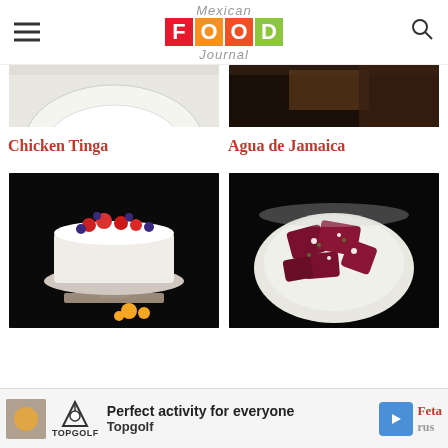Mexican FOOD Journal
[Figure (photo): Partial view of a white plate with food, cropped at top]
[Figure (photo): Partial view of a dark food scene, cropped at top]
Chicken Tinga
Agua de Jamaica
[Figure (photo): White cake topped with strawberries and blueberries on a marble cake stand, dark background]
[Figure (photo): Bowl of beets with feta-like cheese and herbs on black background]
Feta
rus
Perfect activity for everyone  Topgolf